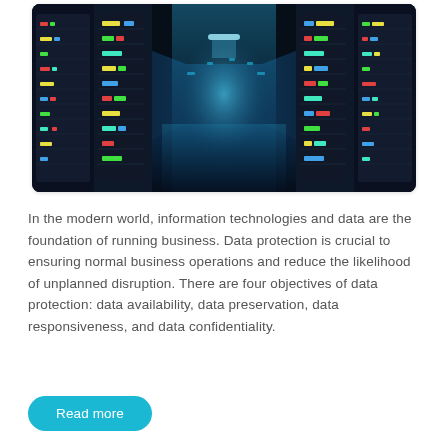[Figure (photo): A server room or data center with rows of server racks illuminated by blue lighting, viewed from a central corridor perspective.]
In the modern world, information technologies and data are the foundation of running business. Data protection is crucial to ensuring normal business operations and reduce the likelihood of unplanned disruption. There are four objectives of data protection: data availability, data preservation, data responsiveness, and data confidentiality.
Read more